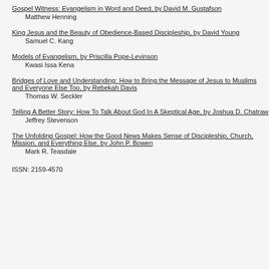Gospel Witness: Evangelism in Word and Deed, by David M. Gustafson
    Matthew Henning
King Jesus and the Beauty of Obedience-Based Discipleship, by David Young
    Samuel C. Kang
Models of Evangelism, by Priscilla Pope-Levinson
    Kwasi Issa Kena
Bridges of Love and Understanding: How to Bring the Message of Jesus to Muslims and Everyone Else Too, by Rebekah Davis
    Thomas W. Seckler
Telling A Better Story: How To Talk About God In A Skeptical Age, by Joshua D. Chatraw
    Jeffrey Stevenson
The Unfolding Gospel: How the Good News Makes Sense of Discipleship, Church, Mission, and Everything Else, by John P. Bowen
    Mark R. Teasdale
ISSN: 2159-4570